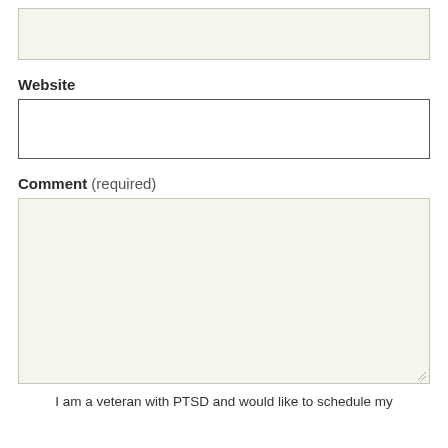[Figure (screenshot): A tall input text box with light beige/cream background and thin border at the top of the page]
Website
[Figure (screenshot): A website input text box with white background and darker border]
Comment (required)
[Figure (screenshot): A large comment textarea with light beige/cream background and resize handle in bottom-right corner]
I am a veteran with PTSD and would like to schedule my